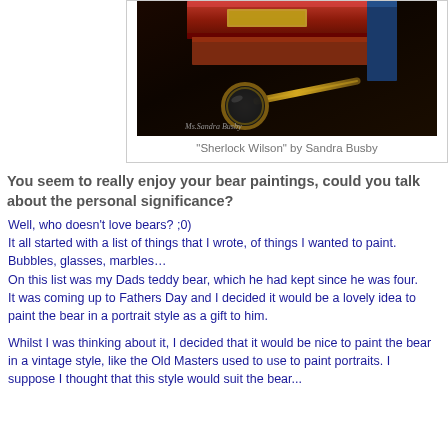[Figure (photo): Oil painting titled 'Sherlock Wilson' by Sandra Busby, depicting books and a magnifying glass in dark vintage style]
"Sherlock Wilson" by Sandra Busby
You seem to really enjoy your bear paintings, could you talk about the personal significance?
Well, who doesn't love bears? ;0)
It all started with a list of things that I wrote, of things I wanted to paint. Bubbles, glasses, marbles…
On this list was my Dads teddy bear, which he had kept since he was four.
It was coming up to Fathers Day and I decided it would be a lovely idea to paint the bear in a portrait style as a gift to him.
Whilst I was thinking about it, I decided that it would be nice to paint the bear in a vintage style, like the Old Masters used to use to paint portraits. I suppose I thought that this style would suit the bear...